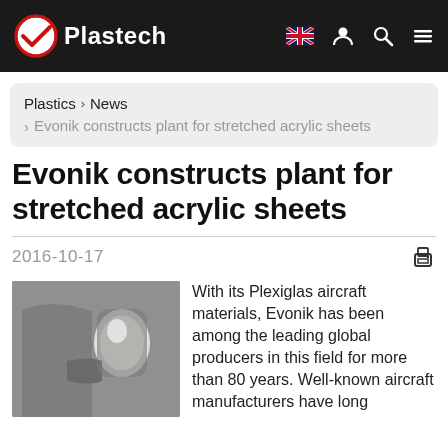Plastech
Plastics › News › Evonik constructs plant for stretched acrylic sheets
Evonik constructs plant for stretched acrylic sheets
2016-10-17
[Figure (photo): Black and white photo of aircraft interior window and seat area]
With its Plexiglas aircraft materials, Evonik has been among the leading global producers in this field for more than 80 years. Well-known aircraft manufacturers have long...